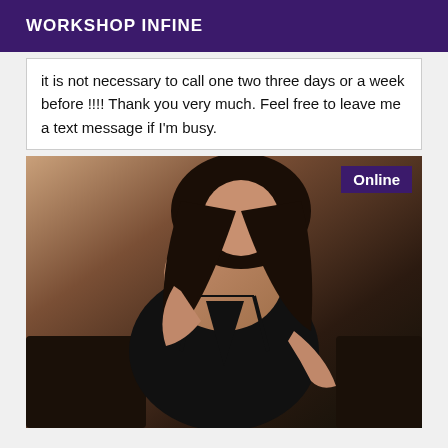WORKSHOP INFINE
it is not necessary to call one two three days or a week before !!!! Thank you very much. Feel free to leave me a text message if I'm busy.
[Figure (photo): Photo of a woman wearing a black dress, with an 'Online' badge in the upper right corner]